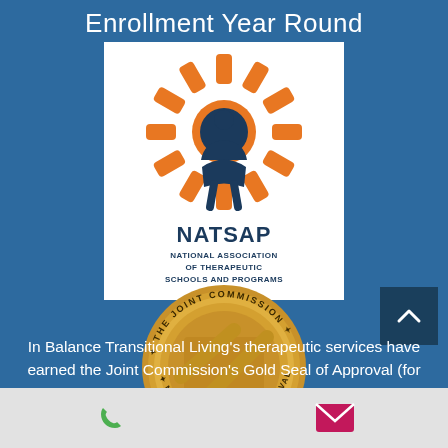Enrollment Year Round
[Figure (logo): NATSAP - National Association of Therapeutic Schools and Programs logo with orange sun/person symbol on white background]
[Figure (logo): The Joint Commission National Quality Approval gold seal medallion]
In Balance Transitional Living's therapeutic services have earned the Joint Commission's Gold Seal of Approval (for
[Figure (other): Navigation footer bar with phone icon and email/envelope icon on light gray background]